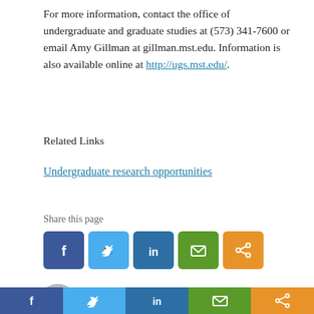For more information, contact the office of undergraduate and graduate studies at (573) 341-7600 or email Amy Gillman at gillman.mst.edu. Information is also available online at http://ugs.mst.edu/.
Related Links
Undergraduate research opportunities
Share this page
[Figure (infographic): Social share buttons: Facebook (blue), Twitter (light blue), LinkedIn (dark blue), Email (green), Share (orange)]
[Figure (infographic): Diagonal hatch divider line]
[Figure (illustration): Gray avatar/profile icon circle]
Posted by news
[Figure (infographic): Bottom share bar: Facebook, Twitter, LinkedIn, Email, Share buttons]